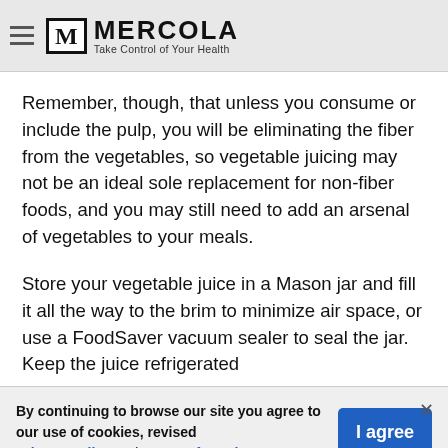MERCOLA — Take Control of Your Health
Remember, though, that unless you consume or include the pulp, you will be eliminating the fiber from the vegetables, so vegetable juicing may not be an ideal sole replacement for non-fiber foods, and you may still need to add an arsenal of vegetables to your meals.
Store your vegetable juice in a Mason jar and fill it all the way to the brim to minimize air space, or use a FoodSaver vacuum sealer to seal the jar. Keep the juice refrigerated
By continuing to browse our site you agree to our use of cookies, revised Privacy Policy and Terms of Service.
548 Shares